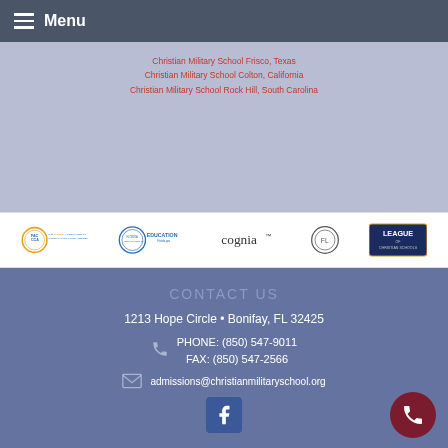Menu
Christian Military School Frisco, Texas
Christian Military School Colton, California
Christian Military School Rock Hill, South Carolina
[Figure (logo): Logos of accreditation organizations: FACCA, Florida Department of Education, Cognia, circular seal, League of Christian Schools]
CONTACT US
1213 Hope Circle • Bonifay, FL 32425
PHONE: (850) 547-9011
FAX: (850) 547-2566
admissions@christianmilitaryschool.org
[Figure (logo): Facebook icon]